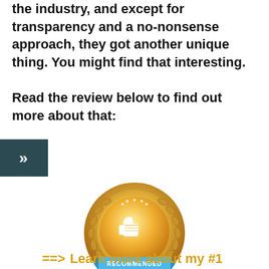the industry, and except for transparency and a no-nonsense approach, they got another unique thing. You might find that interesting.

Read the review below to find out more about that:
[Figure (illustration): A dark teal/green square button with double right-pointing chevron arrows (>>) in white]
[Figure (illustration): A gold award badge with laurel wreath border, thumbs-up icon in the center, and a blue ribbon banner reading RECOMMENDED]
==> Learn more about my #1